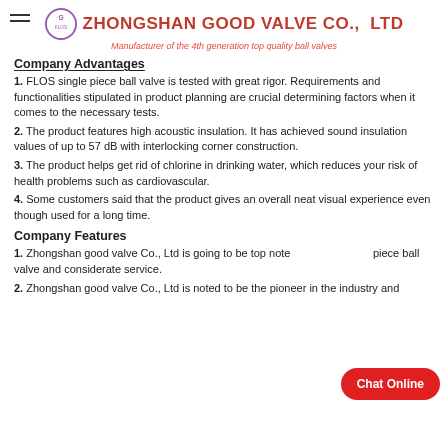ZHONGSHAN GOOD VALVE CO., LTD — Manufacturer of the 4th generation top quality ball valves
Company Advantages
1. FLOS single piece ball valve is tested with great rigor. Requirements and functionalities stipulated in product planning are crucial determining factors when it comes to the necessary tests.
2. The product features high acoustic insulation. It has achieved sound insulation values of up to 57 dB with interlocking corner construction.
3. The product helps get rid of chlorine in drinking water, which reduces your risk of health problems such as cardiovascular.
4. Some customers said that the product gives an overall neat visual experience even though used for a long time.
Company Features
1. Zhongshan good valve Co., Ltd is going to be top note piece ball valve and considerate service.
2. Zhongshan good valve Co., Ltd is noted to be the pioneer in the industry and...